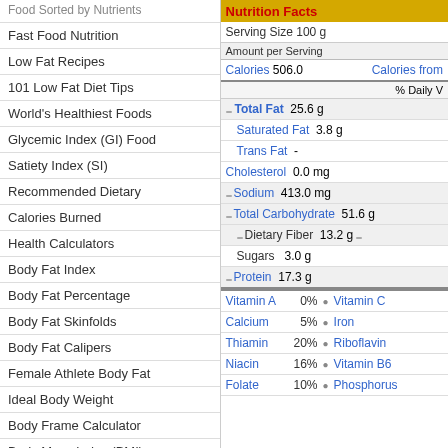Fast Food Nutrition
Low Fat Recipes
101 Low Fat Diet Tips
World's Healthiest Foods
Glycemic Index (GI) Food
Satiety Index (SI)
Recommended Dietary
Calories Burned
Health Calculators
Body Fat Index
Body Fat Percentage
Body Fat Skinfolds
Body Fat Calipers
Female Athlete Body Fat
Ideal Body Weight
Body Frame Calculator
Body Mass Index (BMI)
Body Mass Index (BMI) FAQ
Waist to Hip Ratio (WHR)
| Nutrient | Amount |
| --- | --- |
| Serving Size | 100 g |
| Calories | 506.0 |
| Calories from |  |
| % Daily V |  |
| Total Fat | 25.6 g |
| Saturated Fat | 3.8 g |
| Trans Fat | - |
| Cholesterol | 0.0 mg |
| Sodium | 413.0 mg |
| Total Carbohydrate | 51.6 g |
| Dietary Fiber | 13.2 g |
| Sugars | 3.0 g |
| Protein | 17.3 g |
| Vitamin A | 0% |
| Vitamin C |  |
| Calcium | 5% |
| Iron |  |
| Thiamin | 20% |
| Riboflavin |  |
| Niacin | 16% |
| Vitamin B6 |  |
| Folate | 10% |
| Phosphorus |  |